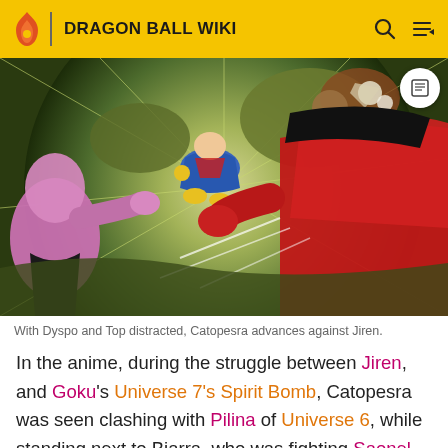DRAGON BALL WIKI
[Figure (screenshot): Anime scene showing a battle with Catopesra advancing against Jiren, with Dyspo (pink character) on the left and a red-suited character on the right, energy explosion in background]
With Dyspo and Top distracted, Catopesra advances against Jiren.
In the anime, during the struggle between Jiren, and Goku's Universe 7's Spirit Bomb, Catopesra was seen clashing with Pilina of Universe 6, while standing next to Biarra, who was fighting Saonel. Later on in the